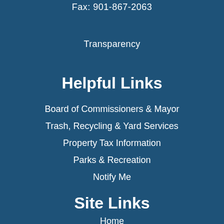Fax: 901-867-2063
Transparency
Helpful Links
Board of Commissioners & Mayor
Trash, Recycling & Yard Services
Property Tax Information
Parks & Recreation
Notify Me
Site Links
Home